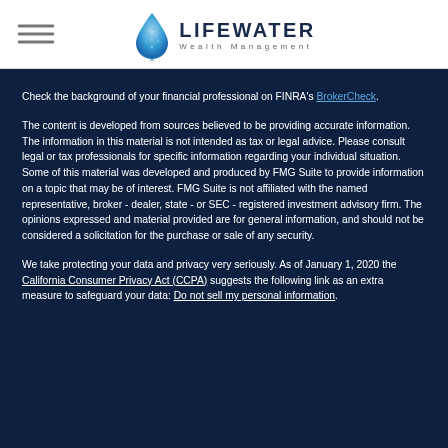[Figure (logo): Lifewater Wealth Management logo with water droplet icon and company name]
Check the background of your financial professional on FINRA's BrokerCheck.
The content is developed from sources believed to be providing accurate information. The information in this material is not intended as tax or legal advice. Please consult legal or tax professionals for specific information regarding your individual situation. Some of this material was developed and produced by FMG Suite to provide information on a topic that may be of interest. FMG Suite is not affiliated with the named representative, broker - dealer, state - or SEC - registered investment advisory firm. The opinions expressed and material provided are for general information, and should not be considered a solicitation for the purchase or sale of any security.
We take protecting your data and privacy very seriously. As of January 1, 2020 the California Consumer Privacy Act (CCPA) suggests the following link as an extra measure to safeguard your data: Do not sell my personal information.